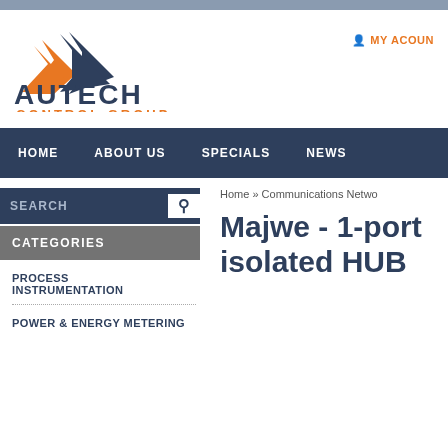[Figure (logo): Autech Control Group logo with orange and dark blue triangle/arrow mark and company name text]
MY ACOUN
HOME   ABOUT US   SPECIALS   NEWS
SEARCH
CATEGORIES
PROCESS INSTRUMENTATION
POWER & ENERGY METERING
Home » Communications Netwo...
Majwe - 1-port isolated HUB